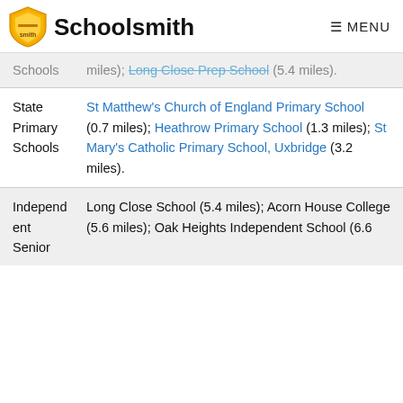Schoolsmith  MENU
Schools  miles); Long Close Prep School (5.4 miles).
| Category | Schools |
| --- | --- |
| State Primary Schools | St Matthew's Church of England Primary School (0.7 miles); Heathrow Primary School (1.3 miles); St Mary's Catholic Primary School, Uxbridge (3.2 miles). |
| Independent Senior | Long Close School (5.4 miles); Acorn House College (5.6 miles); Oak Heights Independent School (6.6 |